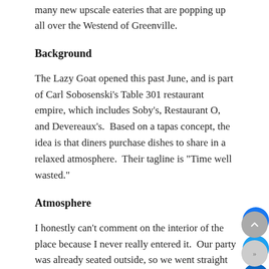many new upscale eateries that are popping up all over the Westend of Greenville.
Background
The Lazy Goat opened this past June, and is part of Carl Sobosenski's Table 301 restaurant empire, which includes Soby's, Restaurant O, and Devereaux's.  Based on a tapas concept, the idea is that diners purchase dishes to share in a relaxed atmosphere.  Their tagline is "Time well wasted."
Atmosphere
I honestly can't comment on the interior of the place because I never really entered it.  Our party was already seated outside, so we went straight to it without going inside.  Our table was fantastic, situated at the top of the